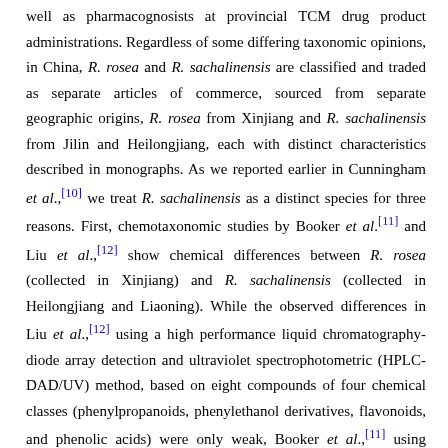well as pharmacognosists at provincial TCM drug product administrations. Regardless of some differing taxonomic opinions, in China, R. rosea and R. sachalinensis are classified and traded as separate articles of commerce, sourced from separate geographic origins, R. rosea from Xinjiang and R. sachalinensis from Jilin and Heilongjiang, each with distinct characteristics described in monographs. As we reported earlier in Cunningham et al.,[10] we treat R. sachalinensis as a distinct species for three reasons. First, chemotaxonomic studies by Booker et al.[11] and Liu et al.,[12] show chemical differences between R. rosea (collected in Xinjiang) and R. sachalinensis (collected in Heilongjiang and Liaoning). While the observed differences in Liu et al.,[12] using a high performance liquid chromatography-diode array detection and ultraviolet spectrophotometric (HPLC-DAD/UV) method, based on eight compounds of four chemical classes (phenylpropanoids, phenylethanol derivatives, flavonoids, and phenolic acids) were only weak, Booker et al.,[11] using general metabolomic fingerprinting but also specific high-performance thin-layer chromatography (HPTLC) methods for testing of the rosavin and salidroside marker spectra, found compelling differences between R. rosea and R. sachalinensis samples. In a DNA barcoding study of six Rhodiola species, Zhang et al.[13] were able to identify and